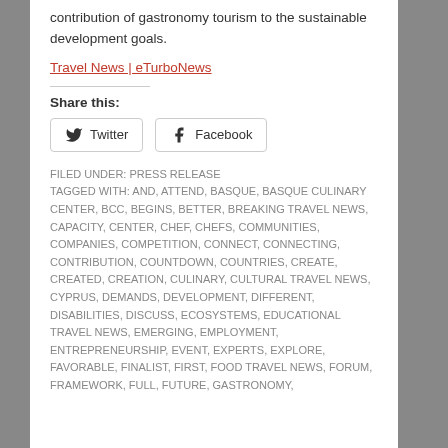contribution of gastronomy tourism to the sustainable development goals.
Travel News | eTurboNews
Share this:
Twitter  Facebook
FILED UNDER: PRESS RELEASE
TAGGED WITH: AND, ATTEND, BASQUE, BASQUE CULINARY CENTER, BCC, BEGINS, BETTER, BREAKING TRAVEL NEWS, CAPACITY, CENTER, CHEF, CHEFS, COMMUNITIES, COMPANIES, COMPETITION, CONNECT, CONNECTING, CONTRIBUTION, COUNTDOWN, COUNTRIES, CREATE, CREATED, CREATION, CULINARY, CULTURAL TRAVEL NEWS, CYPRUS, DEMANDS, DEVELOPMENT, DIFFERENT, DISABILITIES, DISCUSS, ECOSYSTEMS, EDUCATIONAL TRAVEL NEWS, EMERGING, EMPLOYMENT, ENTREPRENEURSHIP, EVENT, EXPERTS, EXPLORE, FAVORABLE, FINALIST, FIRST, FOOD TRAVEL NEWS, FORUM, FRAMEWORK, FULL, FUTURE, GASTRONOMY,